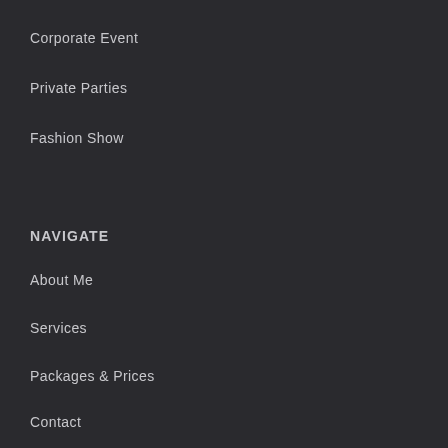Corporate Event
Private Parties
Fashion Show
NAVIGATE
About Me
Services
Packages & Prices
Contact